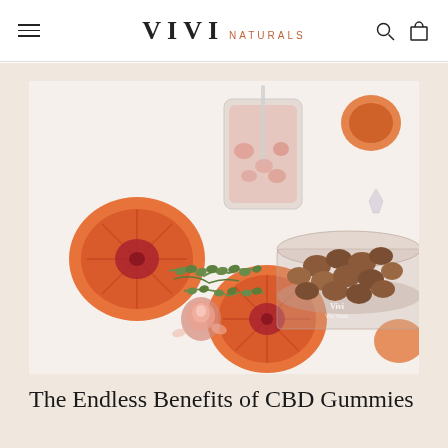VIVI NATURALS
[Figure (photo): Flat lay of blood oranges cut in half, fresh herbs (thyme), a pink rose bud, a glass jar with a pink drink and straw, a small clear container of brown CBD gummies branded with Vivi Naturals logo, all arranged on a white background.]
The Endless Benefits of CBD Gummies